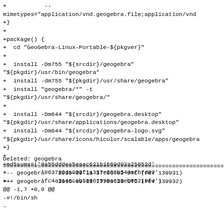+           --
mimetypes="application/vnd.geogebra.file;application/vnd
+}
+
+package() {
+  cd "GeoGebra-Linux-Portable-${pkgver}"
+
+  install -Dm755 "${srcdir}/geogebra"
"${pkgdir}/usr/bin/geogebra"
+  install -dm755 "${pkgdir}/usr/share/geogebra"
+  install "geogebra/*" -t
"${pkgdir}/usr/share/geogebra/"
+
+  install -Dm644 "${srcdir}/geogebra.desktop"
"${pkgdir}/usr/share/applications/geogebra.desktop"
+  install -Dm644 "${srcdir}/geogebra-logo.svg"
"${pkgdir}/usr/share/icons/hicolor/scalable/apps/geogebra
+}
+
+md5sums=('8a55dddea5eaac621b1669d02a25652d'
+          '863782da033f1a337e688b544afb7d07'
+          'fc4a3140ceb50967598a620eb85219f4')
Deleted: geogebra
================================================================
--- geogebra    2015-09-11 17:05:02 UTC (rev 139931)
+++ geogebra    2015-09-11 17:06:33 UTC (rev 139932)
@@ -1,7 +0,0 @@
-#!/bin/sh
-